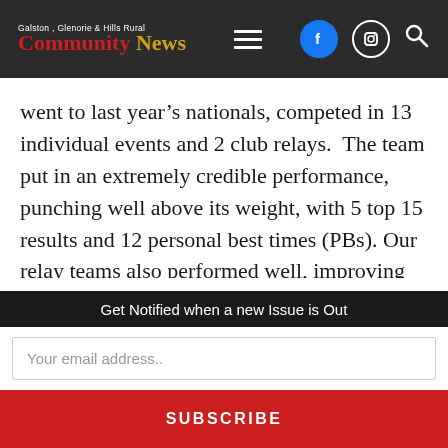Galston, Glenorie & Hills Rural Community News
went to last year's nationals, competed in 13 individual events and 2 club relays.  The team put in an extremely credible performance, punching well above its weight, with 5 top 15 results and 12 personal best times (PBs). Our relay teams also performed well, improving both their overall times and national rankings.

Special mention to Laura Boll who came 6th in the 15 year old girls 100m Backstroke final in a
Get Notified when a new Issue is Out
Your email address..
SUBSCRIBE